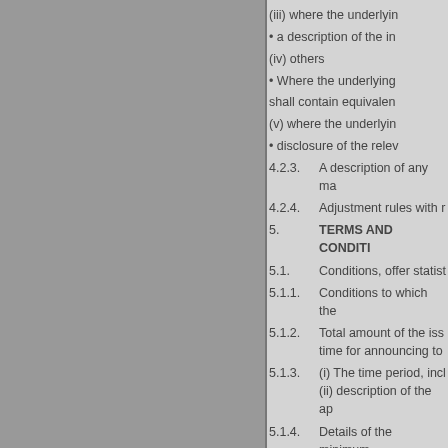(iii) where the underlying
• a description of the in
(iv) others
• Where the underlying
shall contain equivalen
(v) where the underlyin
• disclosure of the relev
4.2.3. A description of any ma
4.2.4. Adjustment rules with r
5. TERMS AND CONDITI
5.1. Conditions, offer statist
5.1.1. Conditions to which the
5.1.2. Total amount of the iss / time for announcing to
5.1.3. (i) The time period, incl / (ii) description of the ap
5.1.4. Details of the minimum / securities or aggregate
5.1.5. Method and time limit